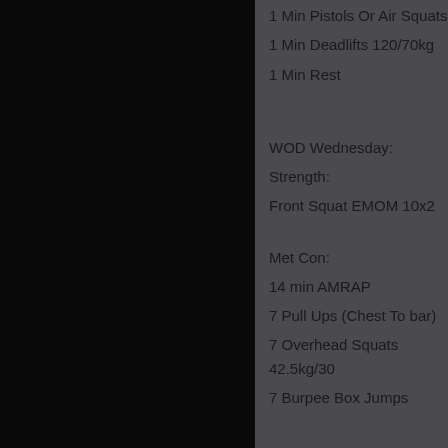1 Min Pistols Or Air Squats
1 Min Deadlifts 120/70kg
1 Min Rest
WOD Wednesday:
Strength:
Front Squat EMOM 10x2
Met Con:
14 min AMRAP
7 Pull Ups (Chest To bar)
7 Overhead Squats 42.5kg/30
7 Burpee Box Jumps
Thursday: